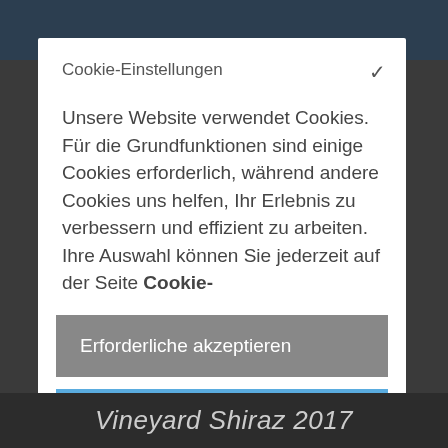Cookie-Einstellungen
Unsere Website verwendet Cookies. Für die Grundfunktionen sind einige Cookies erforderlich, während andere Cookies uns helfen, Ihr Erlebnis zu verbessern und effizient zu arbeiten. Ihre Auswahl können Sie jederzeit auf der Seite Cookie-
Erforderliche akzeptieren
Alle akzeptieren
Vineyard Shiraz 2017